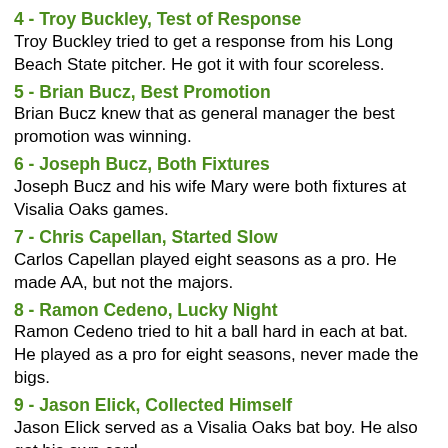4 - Troy Buckley, Test of Response
Troy Buckley tried to get a response from his Long Beach State pitcher. He got it with four scoreless.
5 - Brian Bucz, Best Promotion
Brian Bucz knew that as general manager the best promotion was winning.
6 - Joseph Bucz, Both Fixtures
Joseph Bucz and his wife Mary were both fixtures at Visalia Oaks games.
7 - Chris Capellan, Started Slow
Carlos Capellan played eight seasons as a pro. He made AA, but not the majors.
8 - Ramon Cedeno, Lucky Night
Ramon Cedeno tried to hit a ball hard in each at bat. He played as a pro for eight seasons, never made the bigs.
9 - Jason Elick, Collected Himself
Jason Elick served as a Visalia Oaks bat boy. He also got his own card.
10 - Tom Fine, Lost Concentration
Tom Fine lost his concentration at single-A, then lost 11 games to no wins. Played four seasons, never made the bigs.